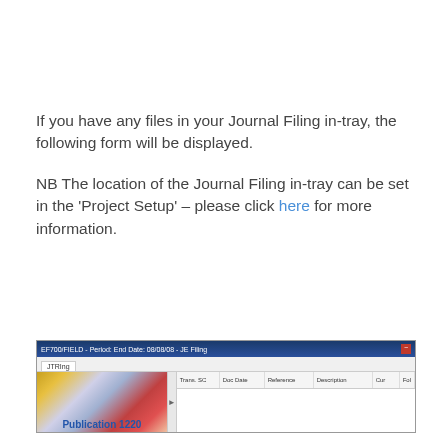If you have any files in your Journal Filing in-tray, the following form will be displayed.
NB The location of the Journal Filing in-tray can be set in the 'Project Setup' – please click here for more information.
[Figure (screenshot): Screenshot of a software application window showing a Journal Filing in-tray form. The title bar reads the application name and date. There is a tab labeled 'JTRIng'. The left side shows a decorative panel with a 'Publication 1220' label. The right panel shows a grid with columns: Trans. SC, Doc Date, Reference, Description, Cur, and another column.]